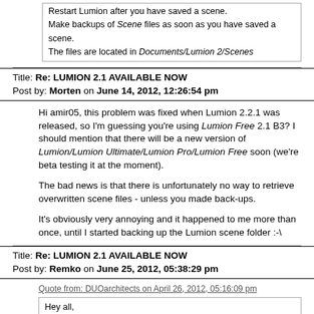Restart Lumion after you have saved a scene.
Make backups of Scene files as soon as you have saved a scene.
The files are located in Documents/Lumion 2/Scenes
Title: Re: LUMION 2.1 AVAILABLE NOW
Post by: Morten on June 14, 2012, 12:26:54 pm
Hi amir05, this problem was fixed when Lumion 2.2.1 was released, so I'm guessing you're using Lumion Free 2.1 B3? I should mention that there will be a new version of Lumion/Lumion Ultimate/Lumion Pro/Lumion Free soon (we're beta testing it at the moment).
The bad news is that there is unfortunately no way to retrieve overwritten scene files - unless you made back-ups.
It's obviously very annoying and it happened to me more than once, until I started backing up the Lumion scene folder :-\
Title: Re: LUMION 2.1 AVAILABLE NOW
Post by: Remko on June 25, 2012, 05:38:29 pm
Quote from: DUOarchitects on April 26, 2012, 05:16:09 pm
Hey all,
I have a problem with the trees shadows.....
From the last Lumion upgrade, the2.1_ built 3, the trees don't cast shadows anymore....
WHY!?!??!?
I try to follow the instruction of Morten...but nothing......
i need help